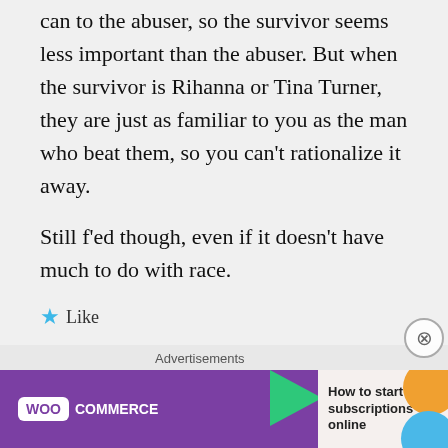can to the abuser, so the survivor seems less important than the abuser. But when the survivor is Rihanna or Tina Turner, they are just as familiar to you as the man who beat them, so you can’t rationalize it away.
Still f’ed though, even if it doesn’t have much to do with race.
★ Like
Advertisements
[Figure (screenshot): WooCommerce advertisement banner: purple left section with WooCommerce logo and green arrow, right section with orange and blue decorative shapes and text 'How to start selling subscriptions online']